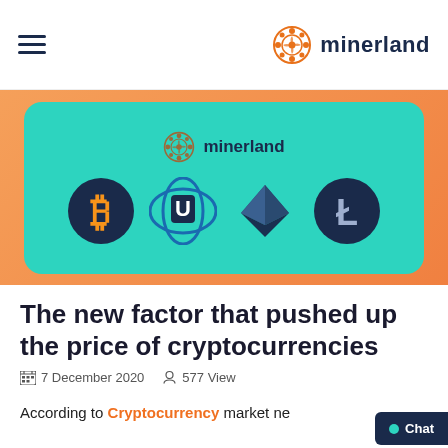minerland
[Figure (illustration): Minerland hero banner with teal/green rounded rectangle on orange gradient background, showing minerland logo and four cryptocurrency coin icons: Bitcoin, UTrust, Ethereum, Litecoin]
The new factor that pushed up the price of cryptocurrencies
7 December 2020   577 View
According to Cryptocurrency market news...